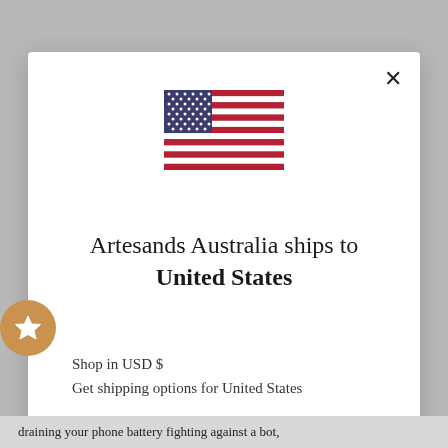[Figure (illustration): US flag emoji/icon centered at top of modal]
Artesands Australia ships to United States
Shop in USD $
Get shipping options for United States
SHOP NOW
CHANGE SHIPPING COUNTRY
draining your phone battery fighting against a bot,